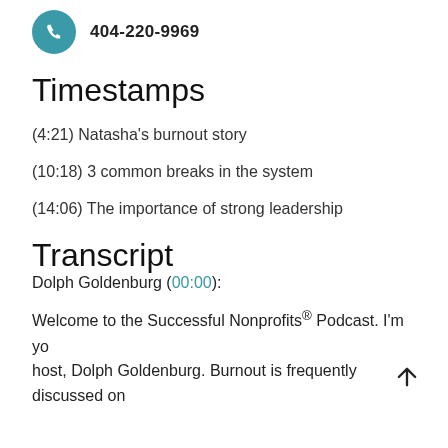404-220-9969
Timestamps
(4:21) Natasha's burnout story
(10:18) 3 common breaks in the system
(14:06) The importance of strong leadership
Transcript
Dolph Goldenburg (00:00):
Welcome to the Successful Nonprofits® Podcast. I'm your host, Dolph Goldenburg. Burnout is frequently discussed on